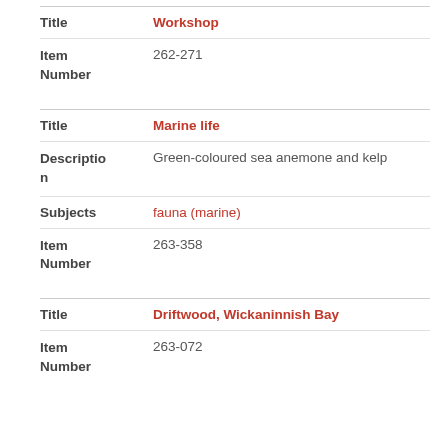| Field | Value |
| --- | --- |
| Title | Workshop |
| Item Number | 262-271 |
| Field | Value |
| --- | --- |
| Title | Marine life |
| Description | Green-coloured sea anemone and kelp |
| Subjects | fauna (marine) |
| Item Number | 263-358 |
| Field | Value |
| --- | --- |
| Title | Driftwood, Wickaninnish Bay |
| Item Number | 263-072 |